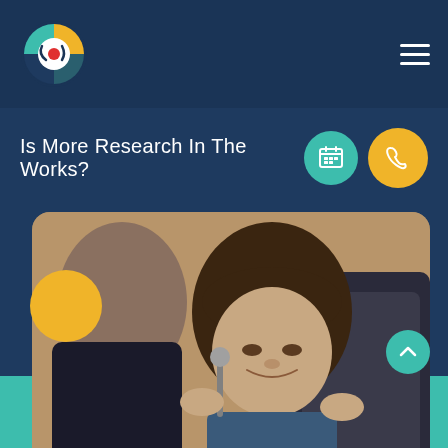[Figure (logo): Circular logo with teal, yellow, and dark segments with a red dot in center]
Is More Research In The Works?
[Figure (photo): Medical professional examining a smiling child patient in a clinical chair, with an ophthalmology/audiology instrument]
(562) 925 6591